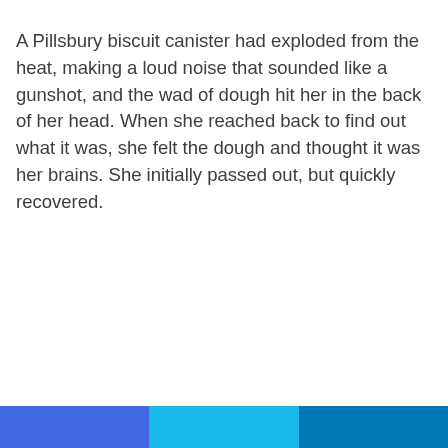A Pillsbury biscuit canister had exploded from the heat, making a loud noise that sounded like a gunshot, and the wad of dough hit her in the back of her head. When she reached back to find out what it was, she felt the dough and thought it was her brains. She initially passed out, but quickly recovered.
[Figure (other): Three colored horizontal bars at the bottom of the page: blue, cyan, and dark blue]